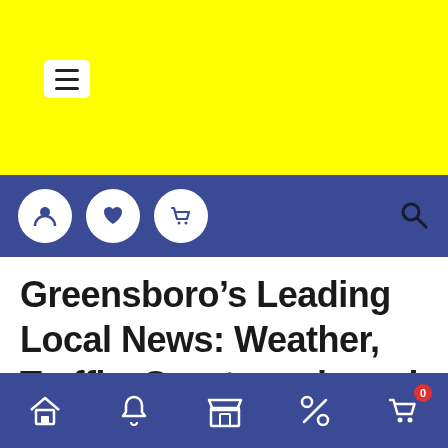[Figure (screenshot): Yellow top navigation bar with white hamburger menu icon]
[Figure (screenshot): Blue navigation bar with white circular icons for user, heart/wishlist, cart on the left and search icon on the right]
Greensboro’s Leading Local News: Weather, Traffic, Sports and much more | Greensboro, North Carolina | WFMYNEWS2.com
Home, Notifications, Store, Deals, Cart (0)